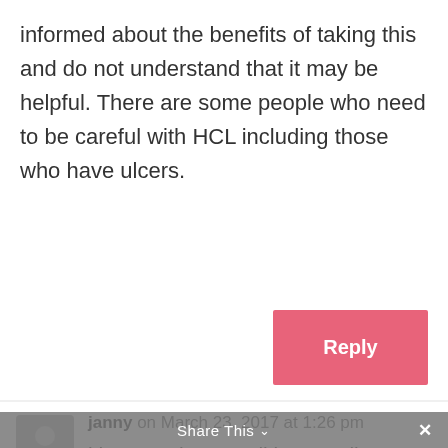informed about the benefits of taking this and do not understand that it may be helpful. There are some people who need to be careful with HCL including those who have ulcers.
[Figure (other): Pink/red 'Reply' button]
janny on March 23, 2017 at 1:26 pm
i have crohnes, colitis as well as difficulty loosing weight – bloating , gas and bad breath have bern ía way of life for years – so much so i
Share This ∨  ×